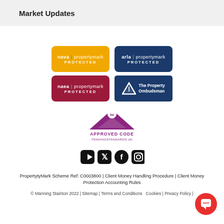Market Updates
[Figure (logo): nava | propertymark PROTECTED badge (gold/yellow)]
[Figure (logo): arla | propertymark PROTECTED badge (dark blue)]
[Figure (logo): naea | propertymark PROTECTED badge (dark red/maroon)]
[Figure (logo): The Property Ombudsman badge (dark blue with triangle logo)]
[Figure (logo): TSI Approved Code - TradingStandards.uk logo (purple roof triangle with tsi circle)]
[Figure (logo): Social media icons: YouTube, Twitter, Facebook, Instagram]
PropertytyMark Scheme Ref: C0003800 | Client Money Handling Procedure | Client Money Protection Accounting Rules
© Manning Stainton 2022 | Sitemap | Terms and Conditions   Cookies | Privacy Policy |